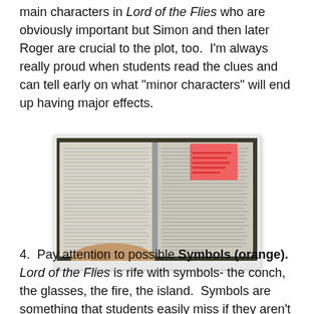main characters in Lord of the Flies who are obviously important but Simon and then later Roger are crucial to the plot, too.  I'm always really proud when students read the clues and can tell early on what "minor characters" will end up having major effects.
[Figure (photo): A photograph of an open book (Lord of the Flies) being held open by a hand, with a pink sticky note placed on the right page.]
4.  Pay attention to possible Symbols (orange).   Lord of the Flies is rife with symbols- the conch, the glasses, the fire, the island.  Symbols are something that students easily miss if they aren't actively looking for them.  Once they understand they symbols and their importance they are